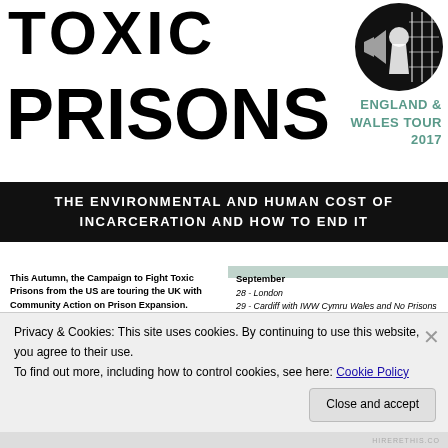TOXIC PRISONS
ENGLAND & WALES TOUR 2017
[Figure (logo): Circular black logo with lock/prison imagery]
THE ENVIRONMENTAL AND HUMAN COST OF INCARCERATION AND HOW TO END IT
This Autumn, the Campaign to Fight Toxic Prisons from the US are touring the UK with Community Action on Prison Expansion.
Folks from the US have been organising resistance at the intersection of mass incarceration and...
September
28 - London
29 - Cardiff with IWW Cymru Wales and No Prisons De Cymru
30 - Port Talbot (AM) & Swansea (PM) with No Prisons De Cymru
Privacy & Cookies: This site uses cookies. By continuing to use this website, you agree to their use.
To find out more, including how to control cookies, see here: Cookie Policy
Close and accept